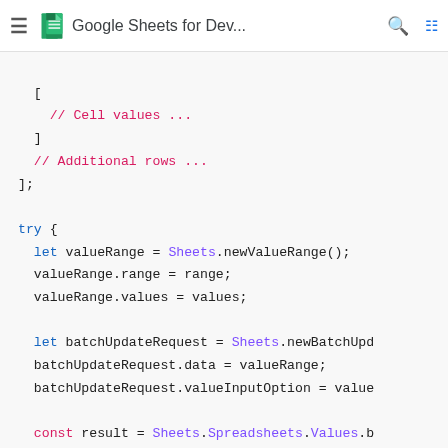Google Sheets for Dev...
[Figure (screenshot): Code snippet showing JavaScript code for Google Sheets API: array close bracket, comments for Cell values and Additional rows, try block with valueRange and batchUpdateRequest setup, const result Sheets.Spreadsheets.Values.b call, return result, catch block with TODO comment and Logger.log line.]